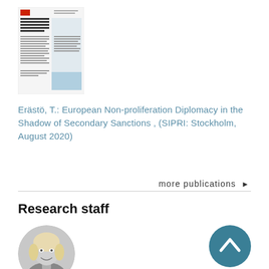[Figure (other): Thumbnail of a SIPRI publication document titled 'European Non-Proliferation Diplomacy in the Shadow of Secondary Sanctions']
Erästö, T.: European Non-proliferation Diplomacy in the Shadow of Secondary Sanctions , (SIPRI: Stockholm, August 2020)
more publications ▶
Research staff
[Figure (photo): Black and white circular portrait photo of a woman with blonde hair, smiling]
[Figure (other): Teal circular scroll-to-top button with an upward chevron arrow icon]